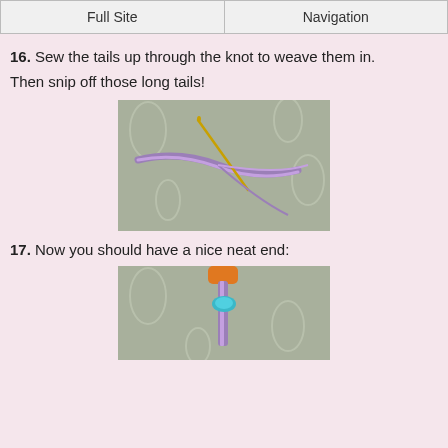Full Site | Navigation
16. Sew the tails up through the knot to weave them in.
Then snip off those long tails!
[Figure (photo): A close-up photo showing a needle being used to sew yarn tails through a knot on a purple braided cord, against a grey paisley-patterned fabric background.]
17. Now you should have a nice neat end:
[Figure (photo): A close-up photo showing a neat finished end of a purple braided cord with a small blue bead/knot stopper, held by orange scissors or clip, against a grey paisley-patterned fabric background.]